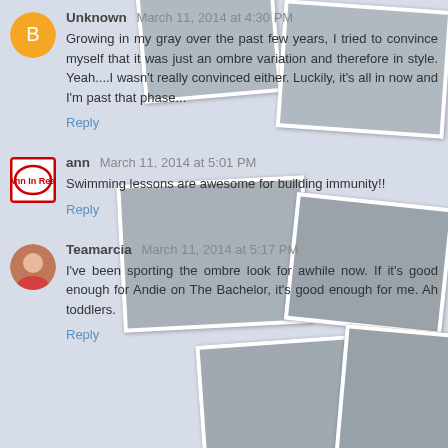Unknown  March 11, 2014 at 4:30 PM
Growing in my gray over the past few years, I tried to convince myself that it was just an ombre variation and therefore in style. Yeah....I wasn't really convinced either. Luckily, it's all in now and I'm past that phase...
Reply
ann  March 11, 2014 at 5:01 PM
Swimming lessons are awesome for building immunity!!
Reply
Teamarcia  March 11, 2014 at 5:17 PM
I've been sporting the ombre look for awhile now. If it's good enough for Andie on The Bachelor, it's good enough for me. Ah toddlers.
Reply